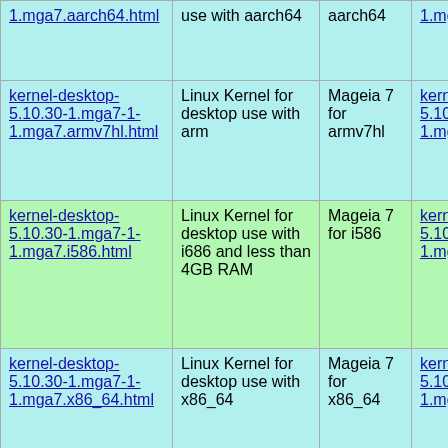| Package | Description | Architecture | RPM |
| --- | --- | --- | --- |
| 1.mga7.aarch64.html | use with aarch64 | aarch64 | 1.mga7.aarch64.rpm |
| kernel-desktop-5.10.30-1.mga7-1-1.mga7.armv7hl.html | Linux Kernel for desktop use with arm | Mageia 7 for armv7hl | kernel-desktop-5.10.30-1.mga7-1-1.mga7.armv7hl.rpm |
| kernel-desktop-5.10.30-1.mga7-1-1.mga7.i586.html | Linux Kernel for desktop use with i686 and less than 4GB RAM | Mageia 7 for i586 | kernel-desktop-5.10.30-1.mga7-1-1.mga7.i586.rpm |
| kernel-desktop-5.10.30-1.mga7-1-1.mga7.x86_64.html | Linux Kernel for desktop use with x86_64 | Mageia 7 for x86_64 | kernel-desktop-5.10.30-1.mga7-1-1.mga7.x86_64.rpm |